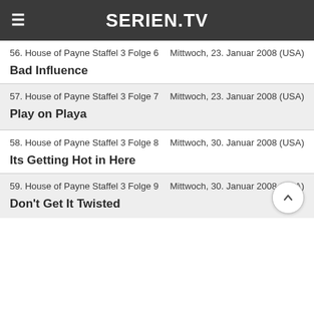SERIEN.TV
56. House of Payne Staffel 3 Folge 6    Mittwoch, 23. Januar 2008 (USA)
Bad Influence
57. House of Payne Staffel 3 Folge 7    Mittwoch, 23. Januar 2008 (USA)
Play on Playa
58. House of Payne Staffel 3 Folge 8    Mittwoch, 30. Januar 2008 (USA)
Its Getting Hot in Here
59. House of Payne Staffel 3 Folge 9    Mittwoch, 30. Januar 2008 (USA)
Don't Get It Twisted